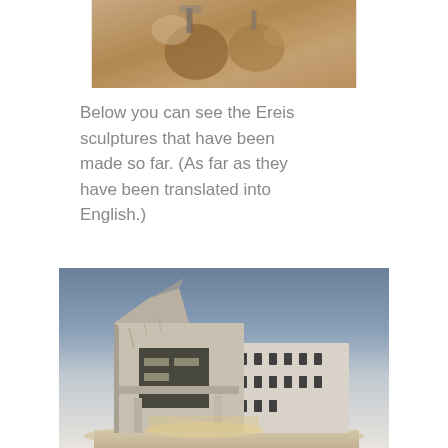[Figure (photo): Close-up photo of what appears to be a small sculpture or model, blurred, warm tan/brown tones]
Below you can see the Ereis sculptures that have been made so far. (As far as they have been translated into English.)
[Figure (photo): Photo of a architectural scale model of a building, appearing to be made of concrete or stone material, showing a multi-story structure with windows and openings, lit from inside/below, set against a blue-grey background]